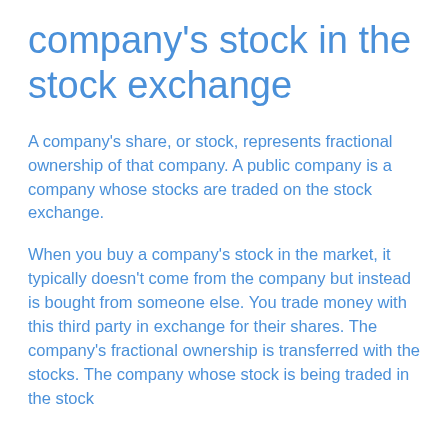company's stock in the stock exchange
A company's share, or stock, represents fractional ownership of that company. A public company is a company whose stocks are traded on the stock exchange.
When you buy a company's stock in the market, it typically doesn't come from the company but instead is bought from someone else. You trade money with this third party in exchange for their shares. The company's fractional ownership is transferred with the stocks. The company whose stock is being traded in the stock